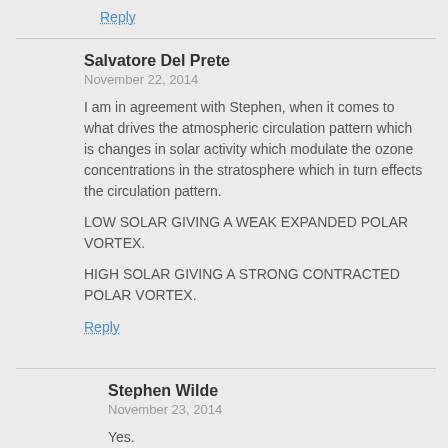Reply
Salvatore Del Prete
November 22, 2014
I am in agreement with Stephen, when it comes to what drives the atmospheric circulation pattern which is changes in solar activity which modulate the ozone concentrations in the stratosphere which in turn effects the circulation pattern.

LOW SOLAR GIVING A WEAK EXPANDED POLAR VORTEX.

HIGH SOLAR GIVING A STRONG CONTRACTED POLAR VORTEX.
Reply
Stephen Wilde
November 23, 2014
Yes.